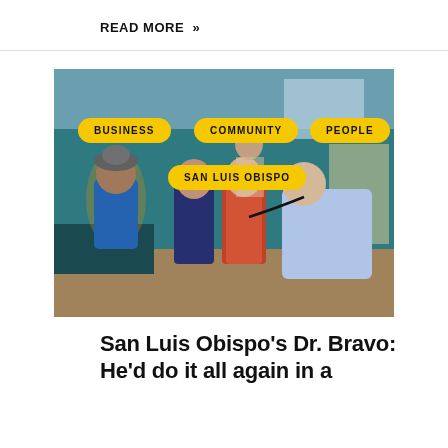READ MORE »
[Figure (photo): A doctor in a blue button-down shirt uses a stethoscope on a young girl in a red-striped dress, while two other children (a boy in a blue shirt and a girl in a navy dress) look on in a medical office. Yellow pill-shaped tags overlay the image reading BUSINESS, COMMUNITY, PEOPLE, and SAN LUIS OBISPO.]
San Luis Obispo's Dr. Bravo: He'd do it all again in a